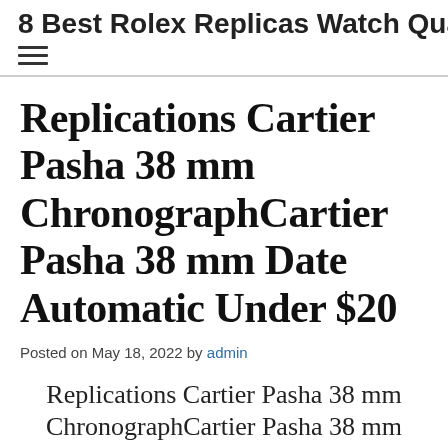8 Best Rolex Replicas Watch Qua…
Replications Cartier Pasha 38 mm ChronographCartier Pasha 38 mm Date Automatic Under $20
Posted on May 18, 2022 by admin
Replications Cartier Pasha 38 mm ChronographCartier Pasha 38 mm